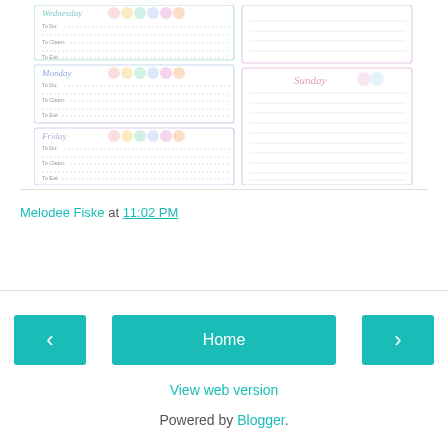[Figure (illustration): Weekly planner printable with pastel colored dots for days Wednesday, Monday, Friday with To Do, To Clean, To Eat sections and a Sunday notes section on the right]
Melodee Fiske at 11:02 PM
Share
‹
Home
›
View web version
Powered by Blogger.